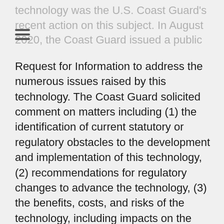technology was the U.S. Coast Guard's recent action on this subject. In August 2020, the Coast Guard issued a public
Request for Information to address the numerous issues raised by this technology. The Coast Guard solicited comment on matters including (1) the identification of current statutory or regulatory obstacles to the development and implementation of this technology, (2) recommendations for regulatory changes to advance the technology, (3) the benefits, costs, and risks of the technology, including impacts on the maritime workforce, safety, the environment, and cybersecurity, (4) necessary changes in training, and (5) infrastructure needs.
A variety of entities (e.g., IMO, BIMCO, American Bureau of Shipping) are already developing standards in this arena. How the Coast Guard will regulate this area remains to be seen in the years ahead. Interestingly, the Coast Guard was testing its own unmanned vessel for coastal waters